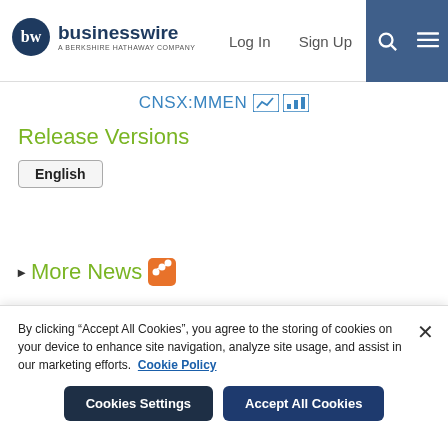businesswire — A BERKSHIRE HATHAWAY COMPANY | Log In | Sign Up
CNSX:MMEN
Release Versions
English
▶ More News
By clicking "Accept All Cookies", you agree to the storing of cookies on your device to enhance site navigation, analyze site usage, and assist in our marketing efforts. Cookie Policy
Cookies Settings | Accept All Cookies